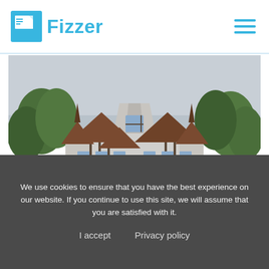Fizzer
[Figure (photo): A large ornate Tudor-style mansion or villa surrounded by green trees and lush garden vegetation, photographed on an overcast day.]
We use cookies to ensure that you have the best experience on our website. If you continue to use this site, we will assume that you are satisfied with it.
I accept   Privacy policy